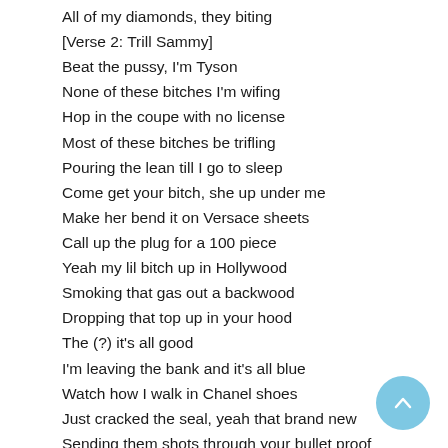All of my diamonds, they biting
[Verse 2: Trill Sammy]
Beat the pussy, I'm Tyson
None of these bitches I'm wifing
Hop in the coupe with no license
Most of these bitches be trifling
Pouring the lean till I go to sleep
Come get your bitch, she up under me
Make her bend it on Versace sheets
Call up the plug for a 100 piece
Yeah my lil bitch up in Hollywood
Smoking that gas out a backwood
Dropping that top up in your hood
The (?) it's all good
I'm leaving the bank and it's all blue
Watch how I walk in Chanel shoes
Just cracked the seal, yeah that brand new
Sending them shots through your bullet proof
[Hook: Soulja Boy]
Forgiato what I'm riding
All of my diamonds they biting
Chopper bullets hit like titans